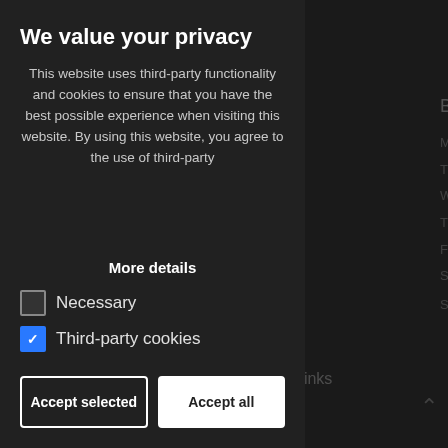We value your privacy
This website uses third-party functionality and cookies to ensure that you have the best possible experience when visiting this website. By using this website, you agree to the use of third-party
More details
Necessary
Third-party cookies
Accept selected
Accept all
[Figure (screenshot): Background content showing Business Hours section with times 09:00 AM - 05:00 PM repeated, Saturday Closed, Sunday Closed, and Links section — dimmed behind cookie modal]